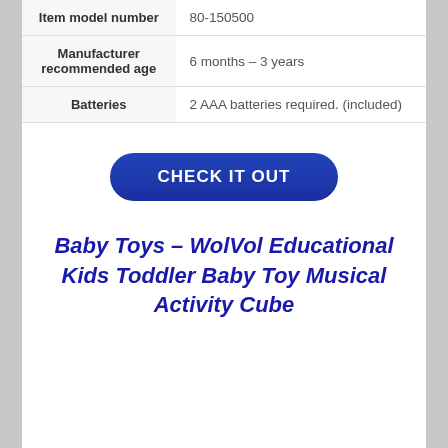| Attribute | Value |
| --- | --- |
| Item model number | 80-150500 |
| Manufacturer recommended age | 6 months – 3 years |
| Batteries | 2 AAA batteries required. (included) |
[Figure (other): A blue rounded rectangle button with white uppercase text reading CHECK IT OUT]
Baby Toys – WolVol Educational Kids Toddler Baby Toy Musical Activity Cube